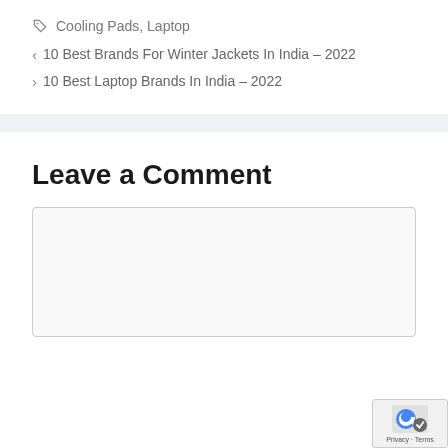Cooling Pads, Laptop
< 10 Best Brands For Winter Jackets In India – 2022
> 10 Best Laptop Brands In India – 2022
Leave a Comment